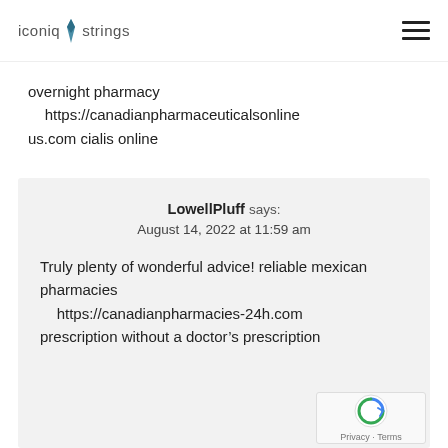iconiq strings
overnight pharmacy https://canadianpharmaceuticalsonlineus.com cialis online
LowellPluff says:
August 14, 2022 at 11:59 am

Truly plenty of wonderful advice! reliable mexican pharmacies https://canadianpharmacies-24h.com prescription without a doctor’s prescription